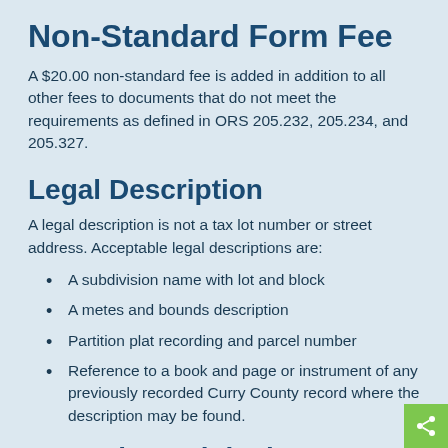Non-Standard Form Fee
A $20.00 non-standard fee is added in addition to all other fees to documents that do not meet the requirements as defined in ORS 205.232, 205.234, and 205.327.
Legal Description
A legal description is not a tax lot number or street address. Acceptable legal descriptions are:
A subdivision name with lot and block
A metes and bounds description
Partition plat recording and parcel number
Reference to a book and page or instrument of any previously recorded Curry County record where the description may be found.
Returning Original Documen